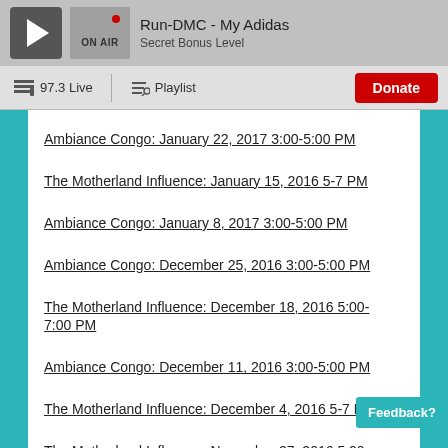Run-DMC - My Adidas | Secret Bonus Level | ON AIR
97.3 Live | Playlist | Donate
Ambiance Congo: January 22, 2017 3:00-5:00 PM
The Motherland Influence: January 15, 2016 5-7 PM
Ambiance Congo: January 8, 2017 3:00-5:00 PM
Ambiance Congo: December 25, 2016 3:00-5:00 PM
The Motherland Influence: December 18, 2016 5:00-7:00 PM
Ambiance Congo: December 11, 2016 3:00-5:00 PM
The Motherland Influence: December 4, 2016 5-7 PM
The Motherland Influence: November 27, 2016 5:00-7:00 PM